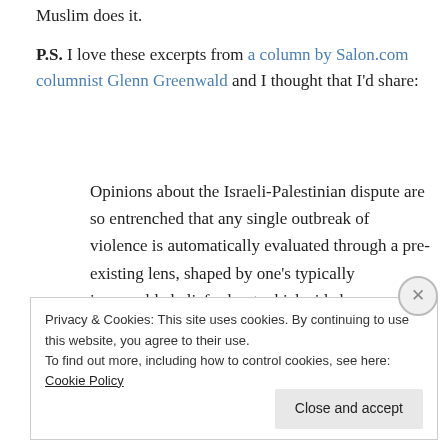Muslim does it.
P.S. I love these excerpts from a column by Salon.com columnist Glenn Greenwald and I thought that I'd share:
Opinions about the Israeli-Palestinian dispute are so entrenched that any single outbreak of violence is automatically evaluated through a pre-existing lens, shaped by one’s typically immovable beliefs about which side bears most of the blame for the conflict generally or “who started it.”
Privacy & Cookies: This site uses cookies. By continuing to use this website, you agree to their use.
To find out more, including how to control cookies, see here: Cookie Policy